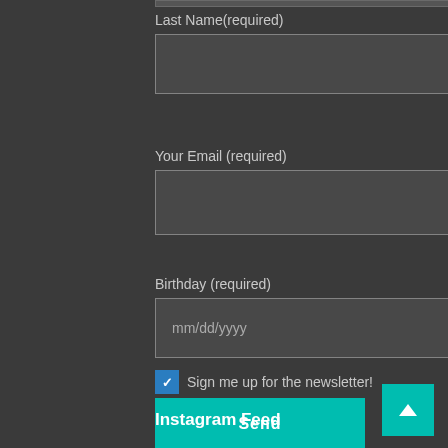Last Name(required)
Your Email (required)
Birthday (required)
Sign me up for the newsletter!
Send
Instagram Feed